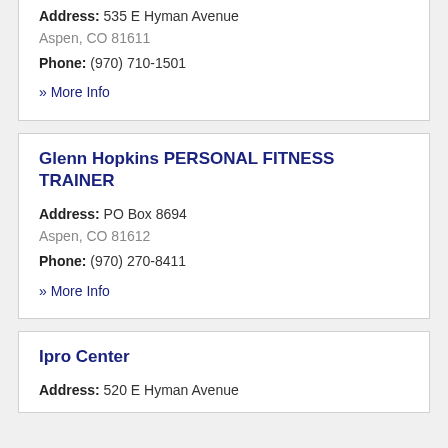Address: 535 E Hyman Avenue
Aspen, CO 81611
Phone: (970) 710-1501
» More Info
Glenn Hopkins PERSONAL FITNESS TRAINER
Address: PO Box 8694
Aspen, CO 81612
Phone: (970) 270-8411
» More Info
Ipro Center
Address: 520 E Hyman Avenue